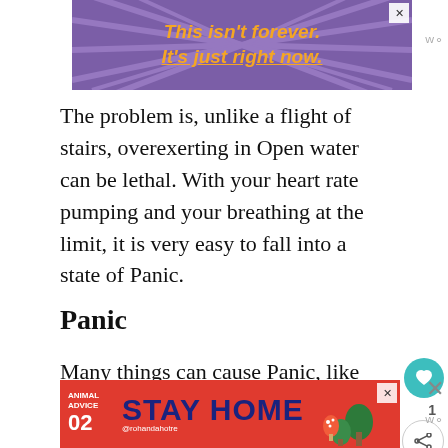[Figure (screenshot): Purple advertisement banner with sunburst rays background. Text reads: This isn't forever. It's just right now. in orange italic bold font with underline on 'right now'.]
The problem is, unlike a flight of stairs, overexerting in Open water can be lethal. With your heart rate pumping and your breathing at the limit, it is very easy to fall into a state of Panic.
Panic
Many things can cause Panic, like the above overexertion, or grabbing a lungful of water, or a spooky shadow, or just feeling too far out, or that the current ha you, or you have become fatigued.
[Figure (screenshot): Red advertisement banner for Animal Advice 02 'STAY HOME' by @rohandahotre with illustrated mushroom forest scene on the right side.]